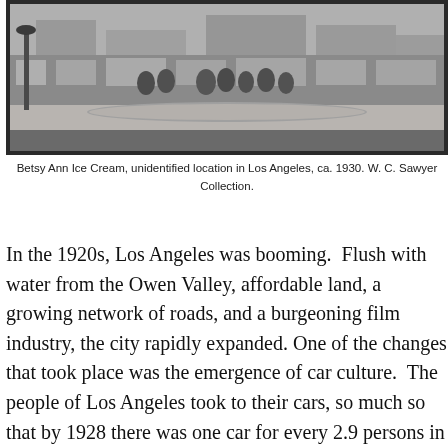[Figure (photo): Black and white photograph of a Betsy Ann Ice Cream location, showing a street scene with people and a storefront, unidentified location in Los Angeles, ca. 1930.]
Betsy Ann Ice Cream, unidentified location in Los Angeles, ca. 1930. W. C. Sawyer Collection.
In the 1920s, Los Angeles was booming.  Flush with water from the Owen Valley, affordable land, a growing network of roads, and a burgeoning film industry, the city rapidly expanded. One of the changes that took place was the emergence of car culture.  The people of Los Angeles took to their cars, so much so that by 1928 there was one car for every 2.9 persons in the city.  At the same time, Hollywood was refining the